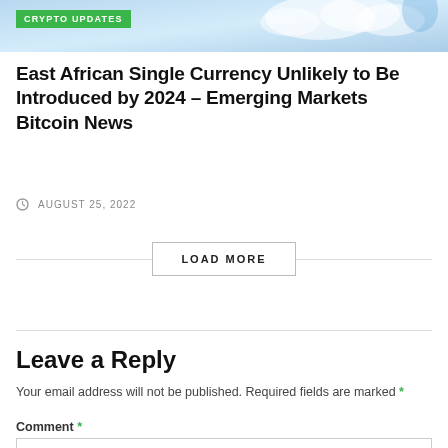[Figure (illustration): Banner image with blue sky/water background and green CRYPTO UPDATES badge label in top-left corner]
East African Single Currency Unlikely to Be Introduced by 2024 – Emerging Markets Bitcoin News
AUGUST 25, 2022
LOAD MORE
Leave a Reply
Your email address will not be published. Required fields are marked *
Comment *